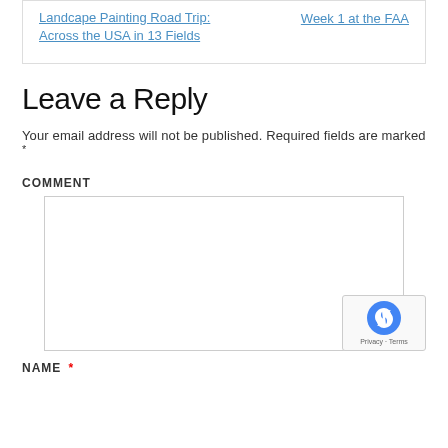Landcape Painting Road Trip: Across the USA in 13 Fields
Week 1 at the FAA
Leave a Reply
Your email address will not be published. Required fields are marked *
COMMENT
NAME *